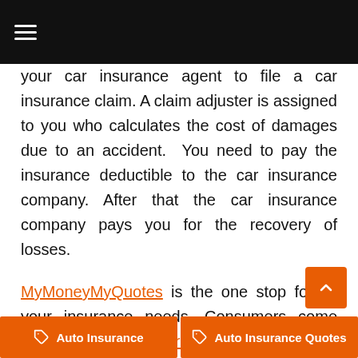≡
your car insurance agent to file a car insurance claim. A claim adjuster is assigned to you who calculates the cost of damages due to an accident.  You need to pay the insurance deductible to the car insurance company. After that the car insurance company pays you for the recovery of losses.
MyMoneyMyQuotes is the one stop for all your insurance needs. Consumers come here to get Free Insurance quotes and they can Compare Insurance Quotes for free to find the cheapest and best insurance deal.
Auto Insurance    Auto Insurance Quotes